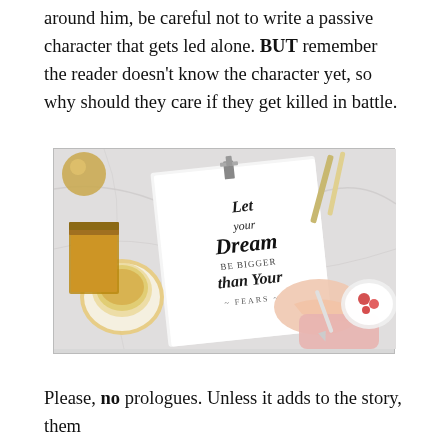around him, be careful not to write a passive character that gets led alone. BUT remember the reader doesn't know the character yet, so why should they care if they get killed in battle.
[Figure (photo): A desk flatlay showing a hand writing calligraphy on a notepad with the text 'Let your Dream be bigger than your FEARS', with a gold-rimmed teacup, stacked books, a decorative gold orb, pencils, and a small plate with strawberries on a marble surface.]
Please, no prologues. Unless it adds to the story, them